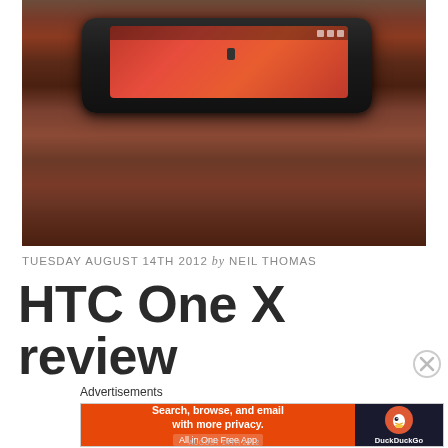[Figure (photo): HTC One X smartphone lying flat on a wooden table, viewed from a low angle showing the side profile. The phone screen displays a red Android interface.]
TUESDAY AUGUST 14TH 2012 by NEIL THOMAS
HTC One X review
Advertisements
[Figure (infographic): DuckDuckGo advertisement banner. Left side: orange background with text 'Search, browse, and email with more privacy. All in One Free App'. Right side: dark background with DuckDuckGo duck logo and brand name.]